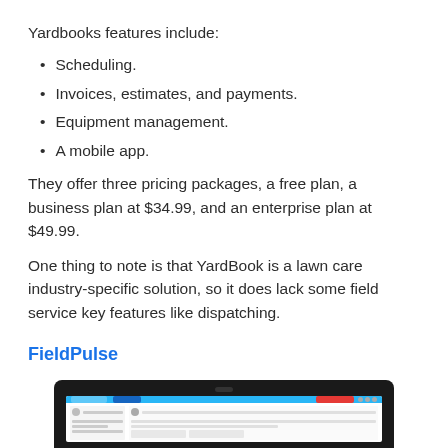Yardbooks features include:
Scheduling.
Invoices, estimates, and payments.
Equipment management.
A mobile app.
They offer three pricing packages, a free plan, a business plan at $34.99, and an enterprise plan at $49.99.
One thing to note is that YardBook is a lawn care industry-specific solution, so it does lack some field service key features like dispatching.
FieldPulse
[Figure (screenshot): Screenshot of FieldPulse software shown in a laptop browser interface with a blue navigation bar and dashboard content]